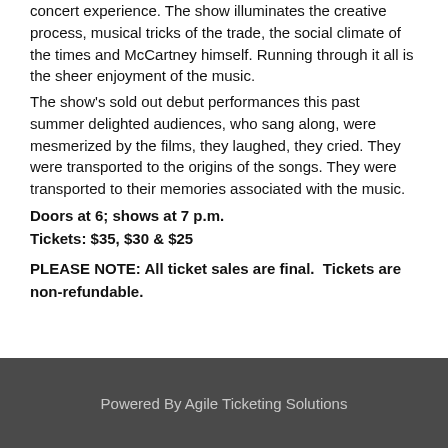concert experience. The show illuminates the creative process, musical tricks of the trade, the social climate of the times and McCartney himself. Running through it all is the sheer enjoyment of the music.
The show's sold out debut performances this past summer delighted audiences, who sang along, were mesmerized by the films, they laughed, they cried. They were transported to the origins of the songs. They were transported to their memories associated with the music.
Doors at 6; shows at 7 p.m.
Tickets: $35, $30 & $25
PLEASE NOTE: All ticket sales are final.  Tickets are non-refundable.
Powered By Agile Ticketing Solutions